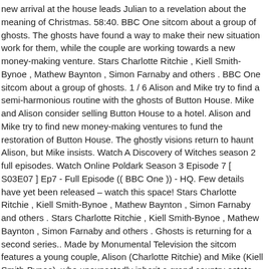new arrival at the house leads Julian to a revelation about the meaning of Christmas. 58:40. BBC One sitcom about a group of ghosts. The ghosts have found a way to make their new situation work for them, while the couple are working towards a new money-making venture. Stars Charlotte Ritchie , Kiell Smith-Bynoe , Mathew Baynton , Simon Farnaby and others . BBC One sitcom about a group of ghosts. 1 / 6 Alison and Mike try to find a semi-harmonious routine with the ghosts of Button House. Mike and Alison consider selling Button House to a hotel. Alison and Mike try to find new money-making ventures to fund the restoration of Button House. The ghostly visions return to haunt Alison, but Mike insists. Watch A Discovery of Witches season 2 full episodes. Watch Online Poldark Season 3 Episode 7 [ S03E07 ] Ep7 - Full Episode (( BBC One )) - HQ. Few details have yet been released – watch this space! Stars Charlotte Ritchie , Kiell Smith-Bynoe , Mathew Baynton , Simon Farnaby and others . Stars Charlotte Ritchie , Kiell Smith-Bynoe , Mathew Baynton , Simon Farnaby and others . Ghosts is returning for a second series.. Made by Monumental Television the sitcom features a young couple, Alison (Charlotte Ritchie) and Mike (Kiell Smith-Bynoe), who unexpectedly inherit a grand country estate only to find it is both falling apart and overrun with ghosts. Stars Charlotte Ritchie , Kiell